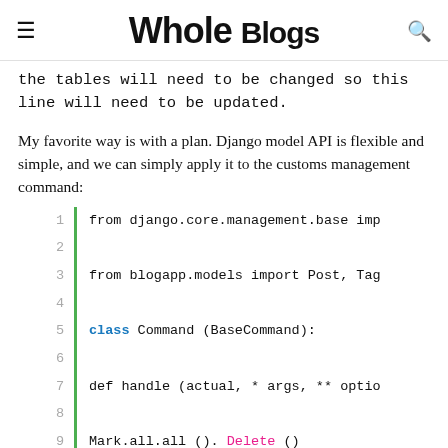Whole Blogs
the tables will need to be changed so this line will need to be updated.
My favorite way is with a plan. Django model API is flexible and simple, and we can simply apply it to the customs management command:
[Figure (screenshot): Code block showing Python Django management command with line numbers 1-12 and a green left border. Code includes: from django.core.management.base imp, from blogapp.models import Post, Tag, class Command (BaseCommand):, def handle (actual, * args, ** optio, Mark.all.all (). Delete (), Post.some.all (). Delete ()]